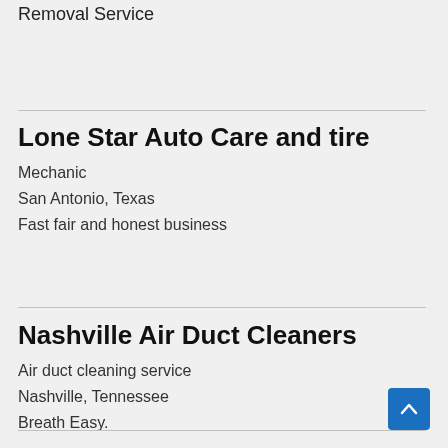Removal Service
Lone Star Auto Care and tire
Mechanic
San Antonio, Texas
Fast fair and honest business
Nashville Air Duct Cleaners
Air duct cleaning service
Nashville, Tennessee
Breath Easy.